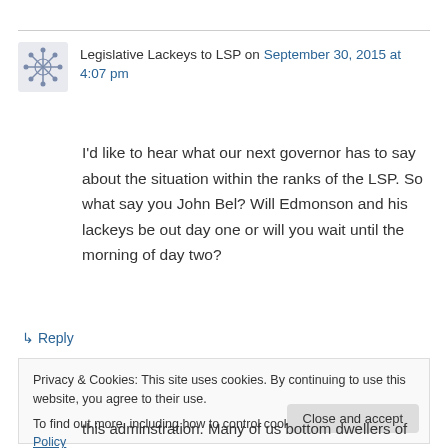Legislative Lackeys to LSP on September 30, 2015 at 4:07 pm
I'd like to hear what our next governor has to say about the situation within the ranks of the LSP. So what say you John Bel? Will Edmonson and his lackeys be out day one or will you wait until the morning of day two?
↳ Reply
Privacy & Cookies: This site uses cookies. By continuing to use this website, you agree to their use. To find out more, including how to control cookies, see here: Cookie Policy
Close and accept
this adminstration. Many of us bottom dwellers of